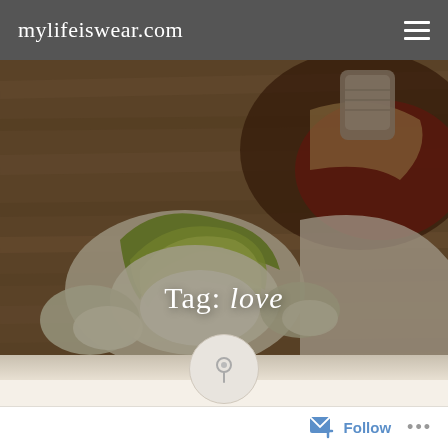mylifeiswear.com
[Figure (photo): Food photography showing a peeled green apple/pear on a wooden cutting board with a thimble and sauce nearby, with the text 'Tag: love' overlaid in white]
Tag: love
[Figure (infographic): A circular pin/pushpin icon in a light grey circle]
Posted on October 10, 2017 14 Comments
Follow ...